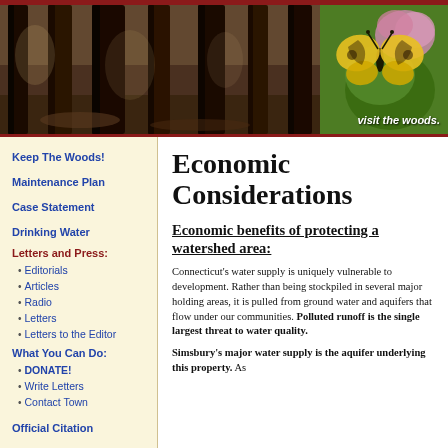[Figure (photo): Banner with forest/woods photo on left and butterfly on flower photo on right, with text 'visit the woods.']
Keep The Woods!
Maintenance Plan
Case Statement
Drinking Water
Letters and Press:
Editorials
Articles
Radio
Letters
Letters to the Editor
What You Can Do:
DONATE!
Write Letters
Contact Town
Official Citation
Preservation Event
Economic Considerations
Economic benefits of protecting a watershed area:
Connecticut's water supply is uniquely vulnerable to development. Rather than being stockpiled in several major holding areas, it is pulled from ground water and aquifers that flow under our communities. Polluted runoff is the single largest threat to water quality.
Simsbury's major water supply is the aquifer underlying this property. As